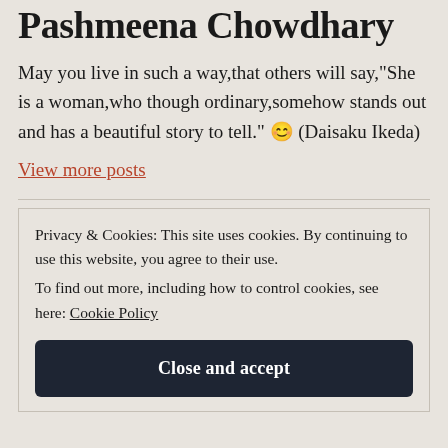Published by Pashmeena Chowdhary
May you live in such a way,that others will say,"She is a woman,who though ordinary,somehow stands out and has a beautiful story to tell." 😊 (Daisaku Ikeda)
View more posts
Privacy & Cookies: This site uses cookies. By continuing to use this website, you agree to their use. To find out more, including how to control cookies, see here: Cookie Policy
Close and accept